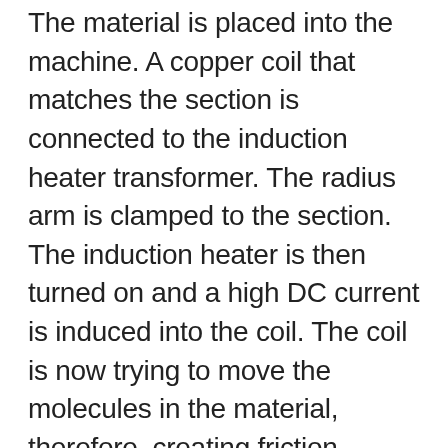The material is placed into the machine. A copper coil that matches the section is connected to the induction heater transformer. The radius arm is clamped to the section. The induction heater is then turned on and a high DC current is induced into the coil. The coil is now trying to move the molecules in the material, therefore, creating friction heating it to a specified temperature. Temperature is determined by frequency. Once the desired temperature is achieved a clear heat ban accrues around the section. At this time variable speed hydraulics will conveyor the section through to coil to the desired radius. In some cases, quenching is required.